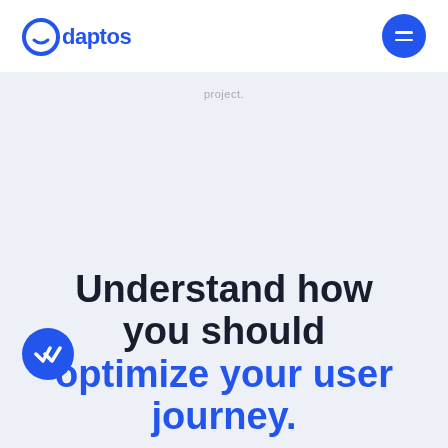[Figure (logo): Odaptos logo with blue text and circular icon]
project.
Understand how you should optimize your user journey.